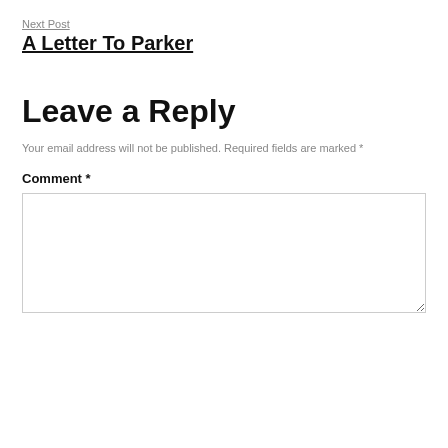Next Post
A Letter To Parker
Leave a Reply
Your email address will not be published. Required fields are marked *
Comment *